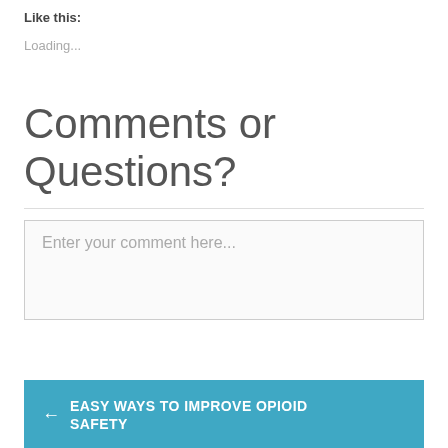Like this:
Loading...
Comments or Questions?
Enter your comment here...
← EASY WAYS TO IMPROVE OPIOID SAFETY